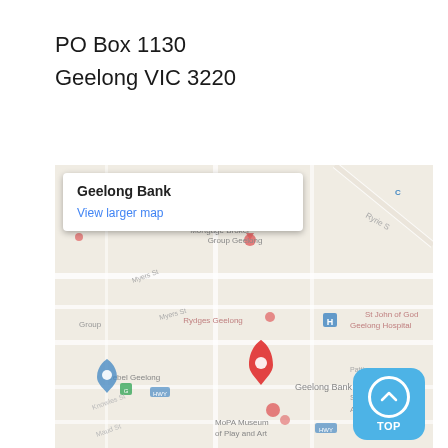PO Box 1130
Geelong VIC 3220
[Figure (map): Google Maps screenshot showing Geelong Bank location with info popup showing 'Geelong Bank' title and 'View larger map' link. Map shows surrounding area including Rydges Geelong, St John of God Geelong Hospital, MoPA Museum of Play and Art, rebel Geelong, and Mortgage Broker Group Geelong. A red location pin marks Geelong Bank. A blue 'TOP' scroll button is visible in the bottom right.]